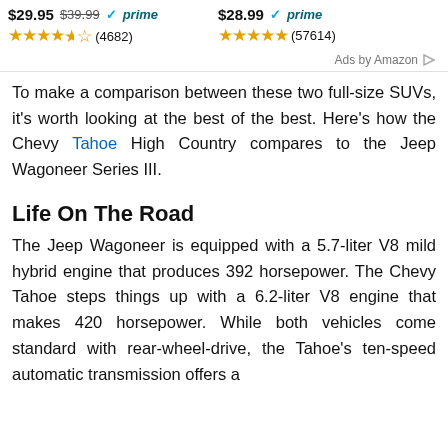[Figure (other): Amazon product listings showing prices ($29.95 with strikethrough $39.99, Prime badge, 4.5 stars, 4682 reviews; and $28.99, Prime badge, 5 stars, 57614 reviews) with Ads by Amazon label]
To make a comparison between these two full-size SUVs, it's worth looking at the best of the best. Here's how the Chevy Tahoe High Country compares to the Jeep Wagoneer Series III.
Life On The Road
The Jeep Wagoneer is equipped with a 5.7-liter V8 mild hybrid engine that produces 392 horsepower. The Chevy Tahoe steps things up with a 6.2-liter V8 engine that makes 420 horsepower. While both vehicles come standard with rear-wheel-drive, the Tahoe's ten-speed automatic transmission offers a